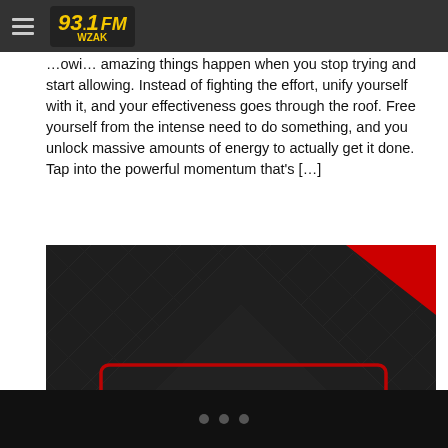93.1 FM WZAK
RobynSimone's Mid-Day Motivation!
…owi… amazing things happen when you stop trying and start allowing. Instead of fighting the effort, unify yourself with it, and your effectiveness goes through the roof. Free yourself from the intense need to do something, and you unlock massive amounts of energy to actually get it done. Tap into the powerful momentum that's […]
[Figure (logo): 93.1 FM WZAK radio station logo on dark geometric background with circuit board pattern. Large yellow stylized numbers '93.1' and 'FM' text with 'WZAK' below in yellow lettering, red neon-style border rectangle around the logo elements.]